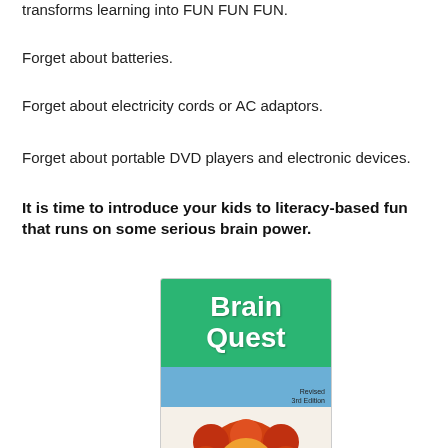transforms learning into FUN FUN FUN.
Forget about batteries.
Forget about electricity cords or AC adaptors.
Forget about portable DVD players and electronic devices.
It is time to introduce your kids to literacy-based fun that runs on some serious brain power.
[Figure (photo): Brain Quest book cover showing title 'Brain Quest' on green and blue background with a cartoon lion, labeled 'Revised 3rd Edition' and 'Agos' at the bottom]